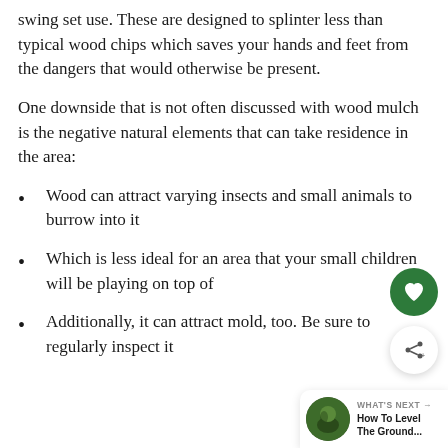swing set use. These are designed to splinter less than typical wood chips which saves your hands and feet from the dangers that would otherwise be present.
One downside that is not often discussed with wood mulch is the negative natural elements that can take residence in the area:
Wood can attract varying insects and small animals to burrow into it
Which is less ideal for an area that your small children will be playing on top of
Additionally, it can attract mold, too. Be sure to regularly inspect it